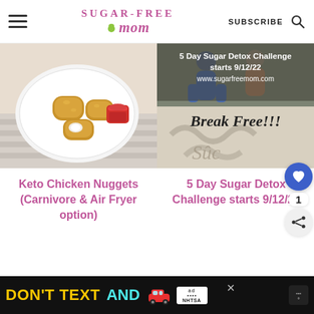Sugar-Free Mom | SUBSCRIBE
[Figure (photo): Photo of keto chicken nuggets on a white plate with ketchup dipping sauce, on a striped cloth]
[Figure (photo): 5 Day Sugar Detox Challenge starts 9/12/22 www.sugarfreemom.com Break Free!!! promotional image with sugar written in sand]
Keto Chicken Nuggets (Carnivore & Air Fryer option)
5 Day Sugar Detox Challenge starts 9/12/22
[Figure (infographic): Floating heart (favorite) button in blue circle and share button below it, with count of 1]
DON'T TEXT AND [car emoji] ad NHTSA